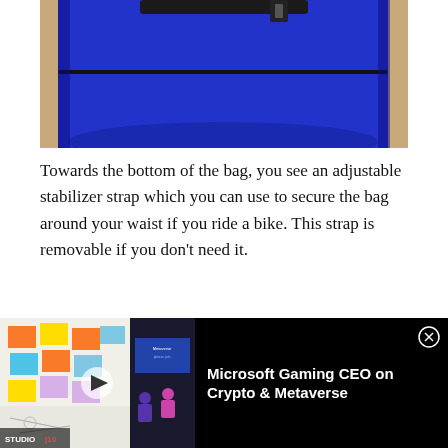[Figure (photo): Close-up photo of the bottom of a blue fabric backpack showing a black stabilizer strap and zipper detail on a wood surface background]
Towards the bottom of the bag, you see an adjustable stabilizer strap which you can use to secure the bag around your waist if you ride a bike. This strap is removable if you don't need it.
[Figure (photo): Partial view of a second bag photo at the bottom of the page, partially obscured by an advertisement overlay]
[Figure (screenshot): Video advertisement thumbnail showing a metaverse/virtual reality scene with avatars and sticky notes on a wall, with a play button overlay and Studio 10 logo. Text reads: Microsoft Gaming CEO on Crypto & Metaverse]